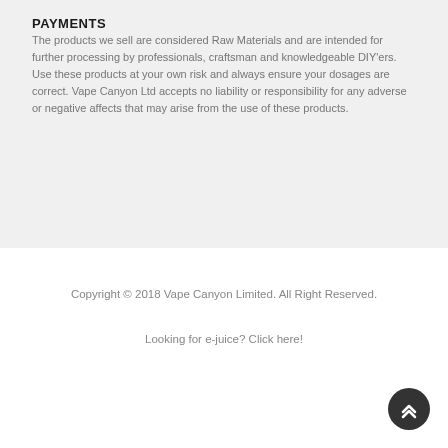PAYMENTS
The products we sell are considered Raw Materials and are intended for further processing by professionals, craftsman and knowledgeable DIY'ers. Use these products at your own risk and always ensure your dosages are correct. Vape Canyon Ltd accepts no liability or responsibility for any adverse or negative affects that may arise from the use of these products.
Copyright © 2018 Vape Canyon Limited. All Right Reserved.
Looking for e-juice? Click here!